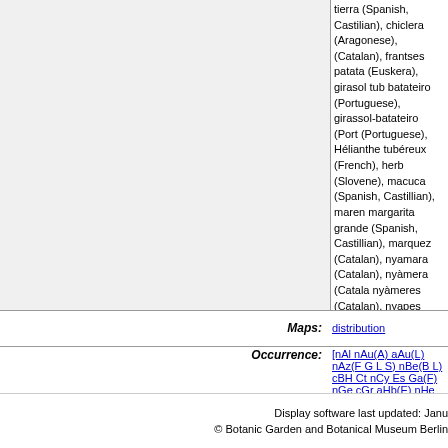tierra (Spanish, Castilian), chiclera (Aragonese), (Catalan), frantses patata (Euskera), girasol tub batateiro (Portuguese), girassol-batateiro (Port (Portuguese), Hélianthe tubéreux (French), herb (Slovene), macuca (Spanish, Castillian), maren margarita grande (Spanish, Castillian), marquez (Catalan), nyamara (Catalan), nyàmera (Catala nyàmeres (Catalan), nyapes (Catalan), papa (S Aragonese), pataca (Spanish, Castillian), patac pataca de pala (Spanish, Castillian), patacas (A Castillian), patacas de palo (Valencian), pataka (Aragonese), pataquera (High Aragonese), pata Castillian), patata de caña (Spanish, Castillian), de canya (Valencian), patata de pala (Valencian Castillian), patata de tierra (Spanish, Castillian), patata tumba (Spanish, Castillian), patata turma Aragonese), patata turma (Spanish, Castillian), Castillian), Patate de Virginie (French), peras da tierra (Spanish, Castillian), petacas (Spanish, C ramons (Catalan), setembres (Catalan), topinam topinambor (Portuguese), Topinambur (Polish), topiñamorr (Euskera), topinanbu (Euskera), trun canaria (High Aragonese), tubera-topinambores (Portuguese), tupinambo (Spanish, Castillian), t (Spanish, Castillian), turma de agua (Spanish, C
Maps: distribution
Occurrence: [nAl nAu(A) aAu(L) nAz(F G L S) nBe(B L) cBH Ct nCy Es Ga(F) nGe cGr aHb(E) nHe nHo nHs cLi cLS nLt cLu aMd(M) nMk nMo No nPo Rf nR S) nSk Sl aSr Su Tu(A) Uk nUk(K U)]
Display software last updated: Janu © Botanic Garden and Botanical Museum Berlin